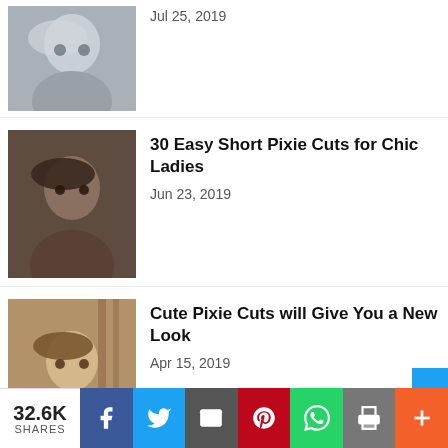[Figure (photo): Thumbnail of woman with short blonde pixie cut hairstyle]
Jul 25, 2019
[Figure (photo): Thumbnail of woman with short dark pixie cut hairstyle]
30 Easy Short Pixie Cuts for Chic Ladies
Jun 23, 2019
[Figure (photo): Thumbnail of woman with short golden-brown pixie cut hairstyle in kitchen setting]
Cute Pixie Cuts will Give You a New Look
Apr 15, 2019
[Figure (photo): Thumbnail of woman with short pink/rose pixie cut hairstyle]
50+ Super Short Pixie Cut Ideas
Mar 26, 2019
32.6K SHARES